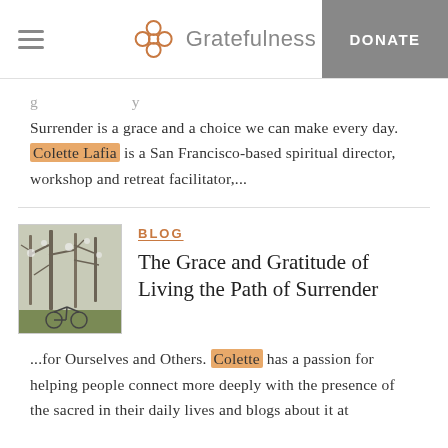Gratefulness — DONATE
Surrender is a grace and a choice we can make every day. Colette Lafia is a San Francisco-based spiritual director, workshop and retreat facilitator,...
BLOG
The Grace and Gratitude of Living the Path of Surrender
[Figure (photo): Photo of a bare tree in winter with a bicycle visible, outdoor scene]
...for Ourselves and Others. Colette has a passion for helping people connect more deeply with the presence of the sacred in their daily lives and blogs about it at